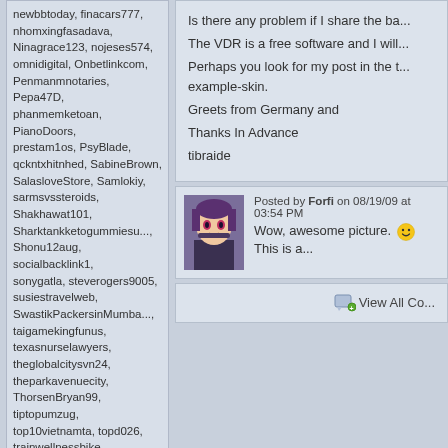newbbtoday, finacars777, nhomxingfasadava, Ninagrace123, nojeses574, omnidigital, Onbetlinkcom, Penmanmnotaries, Pepa47D, phanmemketoan, PianoDoors, prestam1os, PsyBlade, qckntxhitnhed, SabineBrown, SalasloveStore, Samlokiy, sarmsvssteroids, Shakhawat101, Sharktankketogummiesu..., Shonu12aug, socialbacklink1, sonygatla, steverogers9005, susiestravelweb, SwastikPackersinMumba..., taigamekingfunus, texasnurselawyers, theglobalcitysvn24, theparkavenuecity, ThorsenBryan99, tiptopumzug, top10vietnamta, topd026, trainwellnessbike, Tropics777, tyrestore, valeriakorrie, virtualpangeaseo, vn138biz1, w88betfun, xxLuxury777xx Most users ever online was 150,759 on 9/11/14.
Get your weekly helping of fresh wallpapers!
Email Address
Sign me up!
Is there any problem if I share the ba...
The VDR is a free software and I will...
Perhaps you look for my post in the t... example-skin.
Greets from Germany and
Thanks In Advance
tibraide
Posted by Forfi on 08/19/09 at 03:54 PM
Wow, awesome picture. 😊 This is a...
View All Co...